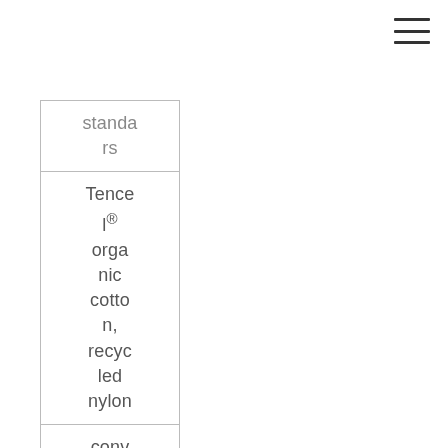[Figure (other): Hamburger menu icon (three horizontal lines) in top right corner]
| standa
rds |
| Tencel® organic cotton, recycled nylon |
| conventio
nal... |